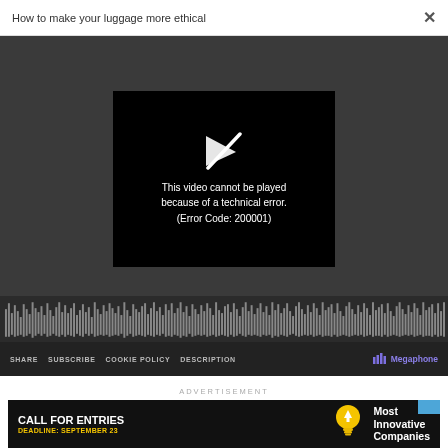How to make your luggage more ethical  ×
[Figure (screenshot): Video player showing error message: 'This video cannot be played because of a technical error. (Error Code: 200001)' on dark background with play icon crossed out. Below the video area is a waveform/audio bar and player controls with SHARE, SUBSCRIBE, COOKIE POLICY, DESCRIPTION links and Megaphone logo.]
ADVERTISEMENT
[Figure (screenshot): Advertisement banner for 'Most Innovative Companies' with text 'CALL FOR ENTRIES' and 'DEADLINE: SEPTEMBER 23' in yellow, light bulb icon, on dark background.]